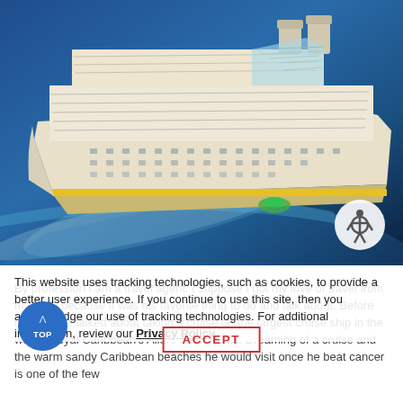[Figure (photo): Aerial photograph of a large cruise ship (Royal Caribbean's Allure of the Seas) sailing on dark blue ocean water, viewed from above at an angle. The ship is white and cream-colored with yellow accents. An accessibility icon (person in circle) is overlaid in the bottom-right corner of the photo.]
This website uses tracking technologies, such as cookies, to provide a better user experience. If you continue to use this site, then you acknowledge our use of tracking technologies. For additional information, review our Privacy Policy.
By profession I am a travel agent. I suppose I got my love of travel from my Dad, because it was his favorite thing to do and talk about. Before he died, he talked about taking a cruise on the largest cruise ship in the world, Royal Caribbean's Allure of the Seas. Dreaming of a cruise and the warm sandy Caribbean beaches he would visit once he beat cancer is one of the few